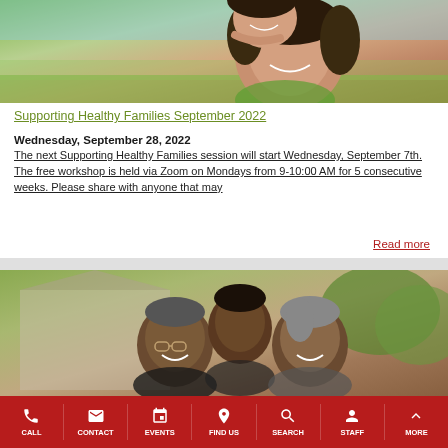[Figure (photo): Mother and daughter smiling outdoors, daughter hugging mother from behind]
Supporting Healthy Families September 2022
Wednesday, September 28, 2022
The next Supporting Healthy Families session will start Wednesday, September 7th. The free workshop is held via Zoom on Mondays from 9-10:00 AM for 5 consecutive weeks. Please share with anyone that may
Read more
[Figure (photo): Multi-generational African American family smiling outdoors — grandfather with glasses, young boy, and grandmother]
CALL  CONTACT  EVENTS  FIND US  SEARCH  STAFF  MORE